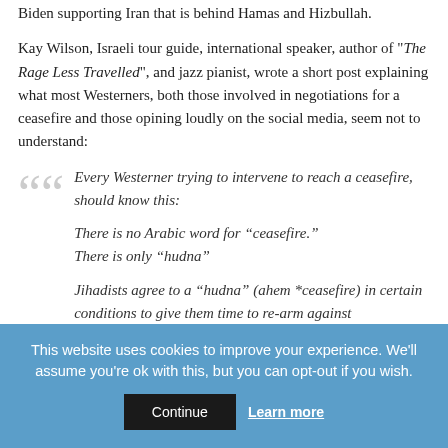Biden supporting Iran that is behind Hamas and Hizbullah.
Kay Wilson, Israeli tour guide, international speaker, author of "The Rage Less Travelled", and jazz pianist, wrote a short post explaining what most Westerners, both those involved in negotiations for a ceasefire and those opining loudly on the social media, seem not to understand:
Every Westerner trying to intervene to reach a ceasefire, should know this:

There is no Arabic word for “ceasefire.”
There is only “hudna”

Jihadists agree to a “hudna” (ahem *ceasefire) in certain conditions to give them time to re-arm against
This website uses cookies to improve your experience. We'll assume you're ok with this, but you can opt-out if you wish.